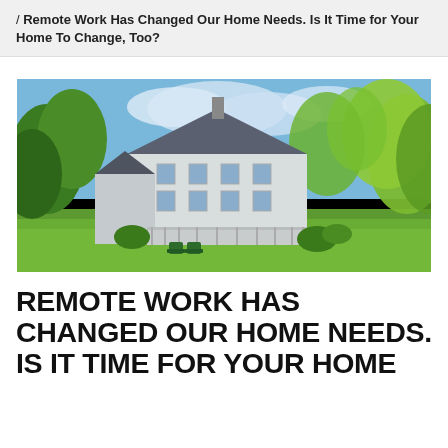/ Remote Work Has Changed Our Home Needs. Is It Time for Your Home To Change, Too?
[Figure (photo): Large white farmhouse-style home with wraparound porch surrounded by lush green trees and lawn, with two green Adirondack chairs in the foreground.]
REMOTE WORK HAS CHANGED OUR HOME NEEDS. IS IT TIME FOR YOUR HOME TO CHANGE, TOO?